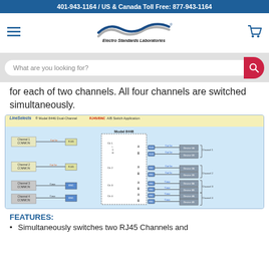401-943-1164 / US & Canada Toll Free: 877-943-1164
[Figure (logo): Electro Standards Laboratories logo with wave graphic]
What are you looking for?
for each of two channels. All four channels are switched simultaneously.
[Figure (schematic): LineSelects Model 8446 Dual-Channel RJ45/BNC A/B Switch Application diagram showing 4 channels (Channel 1-4 COMMON) connecting through RJ45/BNC to Model 8448 switch with A/B outputs going to Device 1A, 1B, 2A, 2B, 3A, 3B, 4A, 4B via Cat 5e/Coax connections.]
FEATURES:
Simultaneously switches two RJ45 Channels and